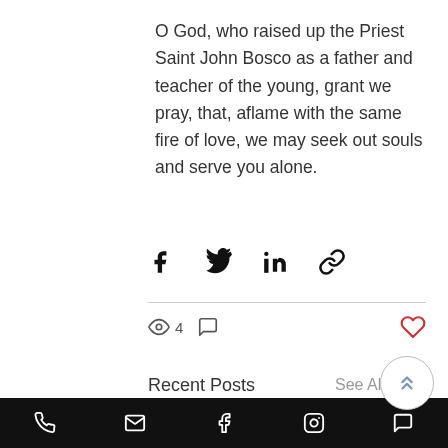O God, who raised up the Priest Saint John Bosco as a father and teacher of the young, grant we pray, that, aflame with the same fire of love, we may seek out souls and serve you alone.
[Figure (screenshot): Social media share icons: Facebook (f), Twitter (bird), LinkedIn (in), and link/chain icon]
[Figure (screenshot): Post stats: eye icon with count 4, comment bubble icon, heart/like icon in red on right]
Recent Posts
See All
[Figure (photo): Stained glass window image showing angelic figures with golden halos]
Phone, Email, Facebook, Instagram, Chat icons in bottom navigation bar